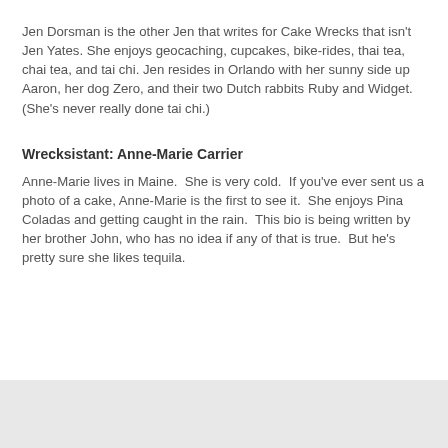Jen Dorsman is the other Jen that writes for Cake Wrecks that isn't Jen Yates. She enjoys geocaching, cupcakes, bike-rides, thai tea, chai tea, and tai chi. Jen resides in Orlando with her sunny side up Aaron, her dog Zero, and their two Dutch rabbits Ruby and Widget. (She's never really done tai chi.)
Wrecksistant: Anne-Marie Carrier
Anne-Marie lives in Maine.  She is very cold.  If you've ever sent us a photo of a cake, Anne-Marie is the first to see it.  She enjoys Pina Coladas and getting caught in the rain.  This bio is being written by her brother John, who has no idea if any of that is true.  But he's pretty sure she likes tequila.